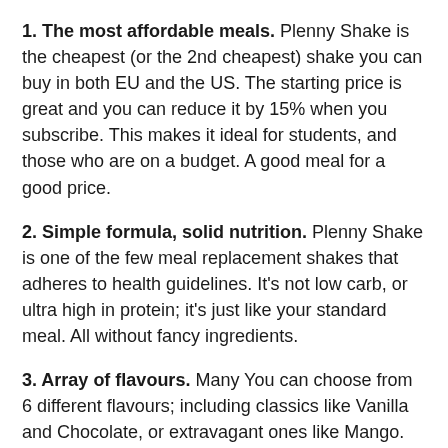1. The most affordable meals. Plenny Shake is the cheapest (or the 2nd cheapest) shake you can buy in both EU and the US. The starting price is great and you can reduce it by 15% when you subscribe. This makes it ideal for students, and those who are on a budget. A good meal for a good price.
2. Simple formula, solid nutrition. Plenny Shake is one of the few meal replacement shakes that adheres to health guidelines. It's not low carb, or ultra high in protein; it's just like your standard meal. All without fancy ingredients.
3. Array of flavours. Many You can choose from 6 different flavours; including classics like Vanilla and Chocolate, or extravagant ones like Mango.
4. Active version. I think that the normal Plenny Shake is what will work for most people. But if you are looking for extra protein, you can enjoy the active version for just…